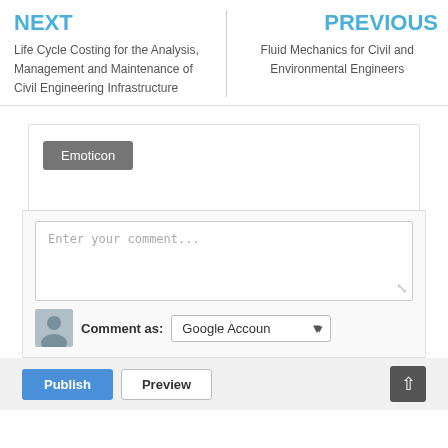NEXT
Life Cycle Costing for the Analysis, Management and Maintenance of Civil Engineering Infrastructure
PREVIOUS
Fluid Mechanics for Civil and Environmental Engineers
[Figure (screenshot): Emoticon button inside a comment toolbar box]
[Figure (screenshot): Comment input area with 'Enter your comment...' placeholder, Comment as Google Account dropdown, Publish and Preview buttons, and scroll-to-top button]